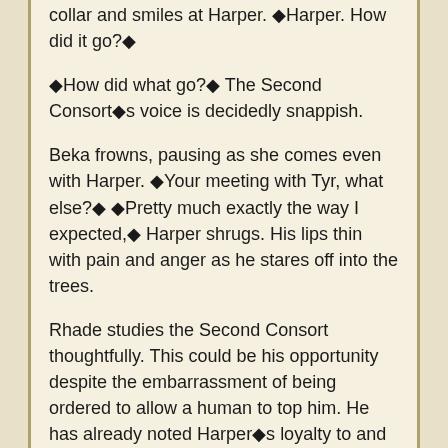collar and smiles at Harper. ◆Harper. How did it go?◆
◆How did what go?◆ The Second Consort◆s voice is decidedly snappish.
Beka frowns, pausing as she comes even with Harper. ◆Your meeting with Tyr, what else?◆ ◆Pretty much exactly the way I expected,◆ Harper shrugs. His lips thin with pain and anger as he stares off into the trees.
Rhade studies the Second Consort thoughtfully. This could be his opportunity despite the embarrassment of being ordered to allow a human to top him. He has already noted Harper◆s loyalty to and affection for those that the human values. Harper◆s anger at the Progenitor might well give him an opening to attach some of that loyalty and affection to himself. And give him the opportunity to show the Second Consort how much pleasure he could provide if given the chance.
◆Well, that◆s a good thing, isn◆t it?◆ Beka